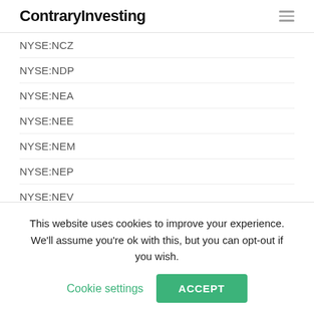ContraryInvesting
NYSE:NCZ
NYSE:NDP
NYSE:NEA
NYSE:NEE
NYSE:NEM
NYSE:NEP
NYSE:NEV
NYSE:NFJ
NYSE:NGG
This website uses cookies to improve your experience. We'll assume you're ok with this, but you can opt-out if you wish. Cookie settings ACCEPT